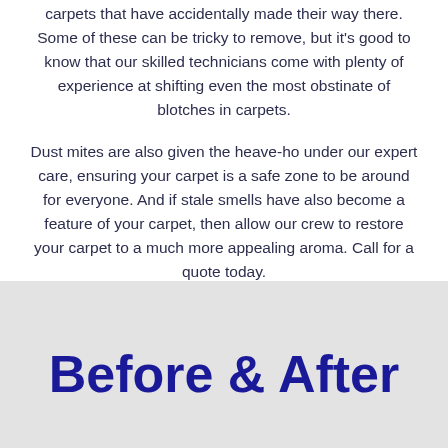carpets that have accidentally made their way there. Some of these can be tricky to remove, but it's good to know that our skilled technicians come with plenty of experience at shifting even the most obstinate of blotches in carpets.
Dust mites are also given the heave-ho under our expert care, ensuring your carpet is a safe zone to be around for everyone. And if stale smells have also become a feature of your carpet, then allow our crew to restore your carpet to a much more appealing aroma. Call for a quote today.
Before & After